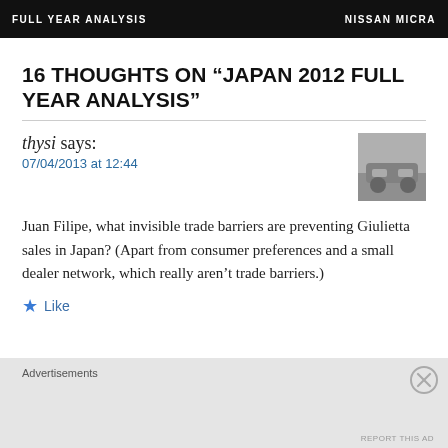FULL YEAR ANALYSIS    NISSAN MICRA
16 THOUGHTS ON “JAPAN 2012 FULL YEAR ANALYSIS”
thysi says:
07/04/2013 at 12:44
[Figure (photo): Small grayscale thumbnail photo of a vehicle]
Juan Filipe, what invisible trade barriers are preventing Giulietta sales in Japan? (Apart from consumer preferences and a small dealer network, which really aren’t trade barriers.)
★ Like
Advertisements